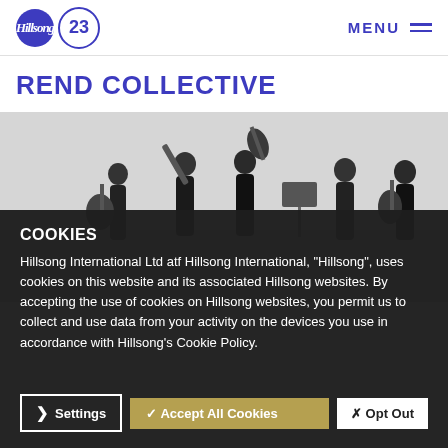Hillsong 23 | MENU
REND COLLECTIVE
[Figure (photo): Black and white photo of band members (Rend Collective) playing instruments outdoors against a gray sky]
COOKIES
Hillsong International Ltd atf Hillsong International, "Hillsong", uses cookies on this website and its associated Hillsong websites. By accepting the use of cookies on Hillsong websites, you permit us to collect and use data from your activity on the devices you use in accordance with Hillsong's Cookie Policy.
❯ Settings | ✓ Accept All Cookies | ✗ Opt Out